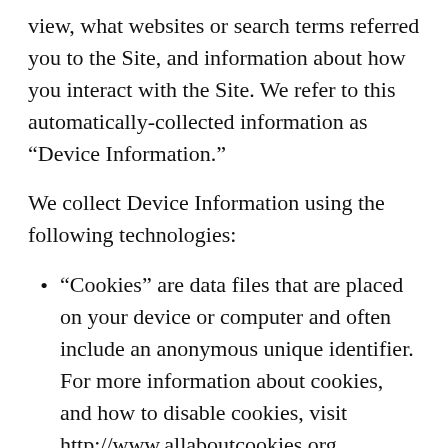view, what websites or search terms referred you to the Site, and information about how you interact with the Site. We refer to this automatically-collected information as “Device Information.”
We collect Device Information using the following technologies:
“Cookies” are data files that are placed on your device or computer and often include an anonymous unique identifier. For more information about cookies, and how to disable cookies, visit http://www.allaboutcookies.org.